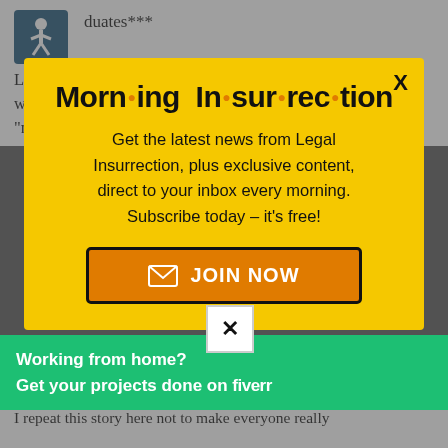duates***
Let's keep in mind that this is coming from the university whose student body rose up in protest against a "microaggressive" protest against
[Figure (infographic): Yellow modal popup for Morning Insurrection newsletter signup with orange JOIN NOW button]
Yes, really. Students were "triggered." complaints were were... turn. I repeat this story here not to make everyone really
[Figure (infographic): Green Fiverr advertisement banner: Working from home? Get your projects done on fiverr]